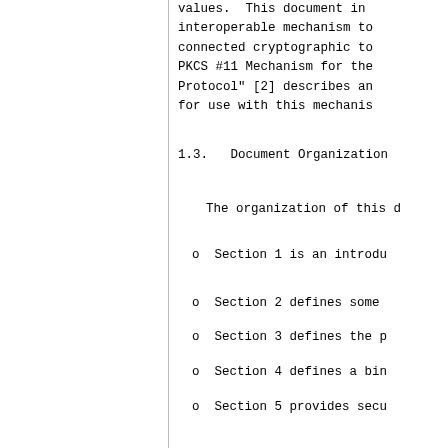values. This document in interoperable mechanism to connected cryptographic to PKCS #11 Mechanism for the Protocol" [2] describes an for use with this mechanis
1.3.  Document Organization
The organization of this d
o  Section 1 is an introdu
o  Section 2 defines some
o  Section 3 defines the p
o  Section 4 defines a bin
o  Section 5 provides secu